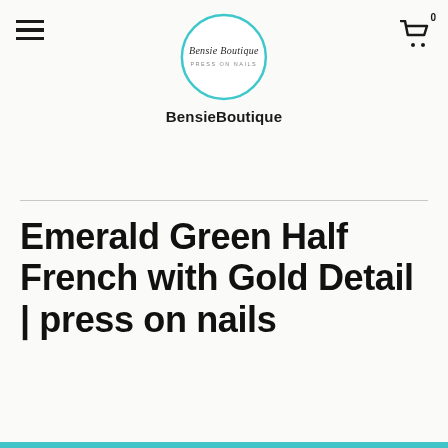BensieBoutique — navigation header with hamburger menu and cart icon (badge: 0)
[Figure (logo): BensieBoutique logo: teal circle with cursive text 'Bensie Boutique' and subtitle 'PRESS ON NAILS', below which bold text reads 'BensieBoutique']
Emerald Green Half French with Gold Detail | press on nails